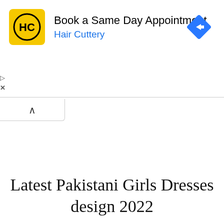[Figure (screenshot): Hair Cuttery advertisement banner with yellow HC logo, text 'Book a Same Day Appointment' and 'Hair Cuttery' in blue, and a blue navigation/direction diamond icon on the right. Small play and X icons on the far left.]
[Figure (other): Collapse/accordion tab with an upward-pointing caret (^) symbol, indicating the ad can be collapsed.]
Latest Pakistani Girls Dresses design 2022